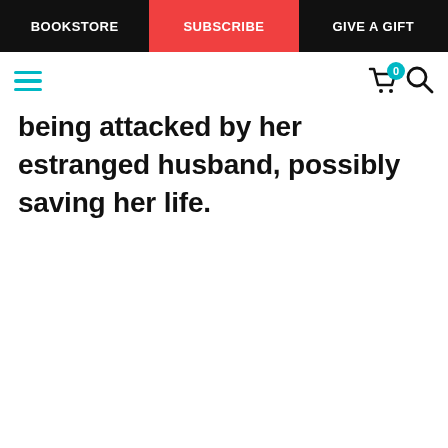BOOKSTORE | SUBSCRIBE | GIVE A GIFT
being attacked by her estranged husband, possibly saving her life.